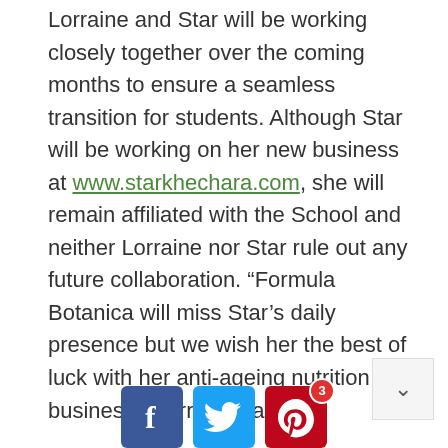Lorraine and Star will be working closely together over the coming months to ensure a seamless transition for students. Although Star will be working on her new business at www.starkhechara.com, she will remain affiliated with the School and neither Lorraine nor Star rule out any future collaboration. “Formula Botanica will miss Star’s daily presence but we wish her the best of luck with her anti-ageing nutrition business”, Lorraine said.
For more information on Formula Botanica and its organic skincare courses, please visit www.formulabotanica.com.
[Figure (other): Social media share buttons: Facebook (blue), Twitter (light blue), Pinterest (red with badge showing count 3)]